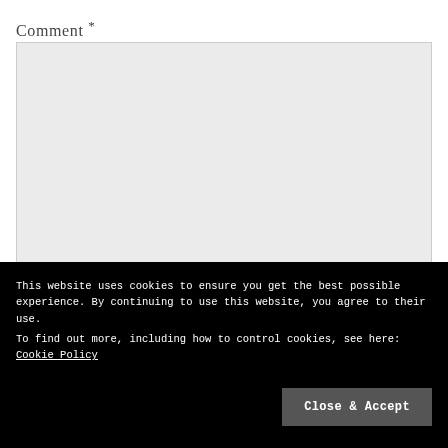Comment *
[Figure (other): Large comment text input area (textarea), light gray background with resize handle at bottom-right]
Name *
[Figure (other): Name text input field, light gray background, partial width]
This website uses cookies to ensure you get the best possible experience. By continuing to use this website, you agree to their use.
To find out more, including how to control cookies, see here: Cookie Policy
Close & Accept